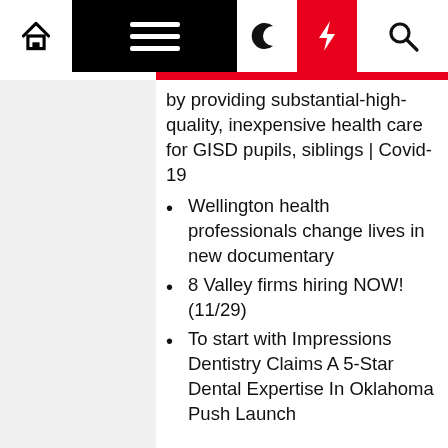Navigation bar with home, menu, moon, lightning, and search icons
by providing substantial-high-quality, inexpensive health care for GISD pupils, siblings | Covid-19
Wellington health professionals change lives in new documentary
8 Valley firms hiring NOW! (11/29)
To start with Impressions Dentistry Claims A 5-Star Dental Expertise In Oklahoma Push Launch